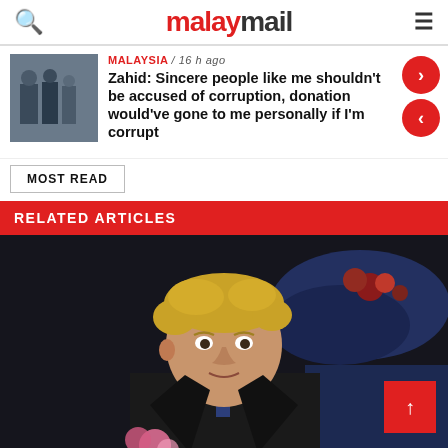malaymail
MALAYSIA / 16 h ago
Zahid: Sincere people like me shouldn't be accused of corruption, donation would've gone to me personally if I'm corrupt
MOST READ
RELATED ARTICLES
[Figure (photo): Photo of Boris Johnson at a formal event, with a woman in a decorative hat visible to the right]